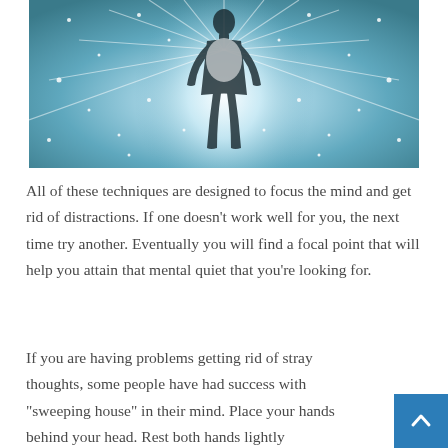[Figure (illustration): A glowing silhouette of a human figure standing with light radiating outward against a teal/blue starry background]
All of these techniques are designed to focus the mind and get rid of distractions. If one doesn't work well for you, the next time try another. Eventually you will find a focal point that will help you attain that mental quiet that you're looking for.
If you are having problems getting rid of stray thoughts, some people have had success with “sweeping house” in their mind. Place your hands behind your head. Rest both hands lightly